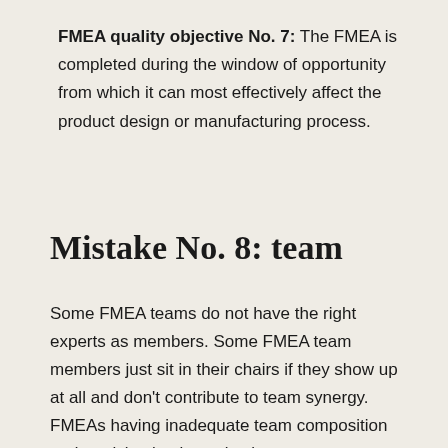FMEA quality objective No. 7: The FMEA is completed during the window of opportunity from which it can most effectively affect the product design or manufacturing process.
Mistake No. 8: team
Some FMEA teams do not have the right experts as members. Some FMEA team members just sit in their chairs if they show up at all and don't contribute to team synergy. FMEAs having inadequate team composition and participation is a mistake.